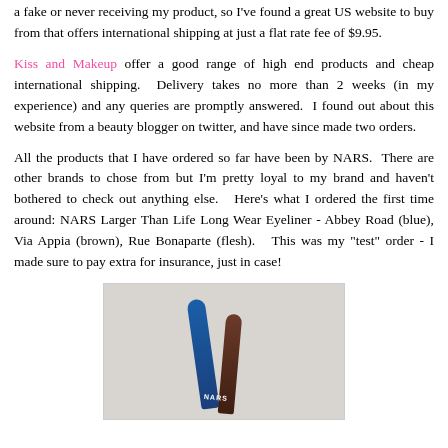a fake or never receiving my product, so I've found a great US website to buy from that offers international shipping at just a flat rate fee of $9.95.
Kiss and Makeup offer a good range of high end products and cheap international shipping. Delivery takes no more than 2 weeks (in my experience) and any queries are promptly answered. I found out about this website from a beauty blogger on twitter, and have since made two orders.
All the products that I have ordered so far have been by NARS. There are other brands to chose from but I'm pretty loyal to my brand and haven't bothered to check out anything else. Here's what I ordered the first time around: NARS Larger Than Life Long Wear Eyeliner - Abbey Road (blue), Via Appia (brown), Rue Bonaparte (flesh). This was my "test" order - I made sure to pay extra for insurance, just in case!
[Figure (photo): Photo of NARS eyeliner pencils (blue and brown) displayed on a gray surface, with NARS branding visible]